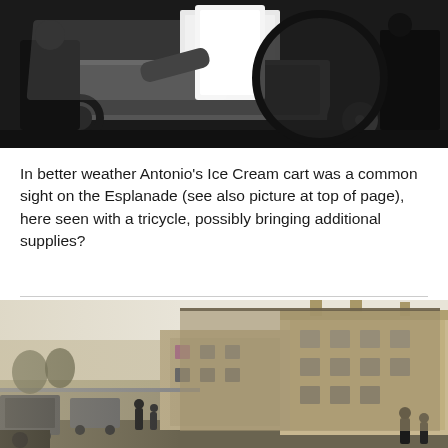[Figure (photo): Black and white photograph showing Antonio's Ice Cream cart on the Esplanade with a tricycle, historical scene]
In better weather Antonio's Ice Cream cart was a common sight on the Esplanade (see also picture at top of page), here seen with a tricycle, possibly bringing additional supplies?
[Figure (photo): Black and white historical photograph showing the Esplanade street with large Victorian-era buildings on the right side and road with cars and pedestrians on the left]